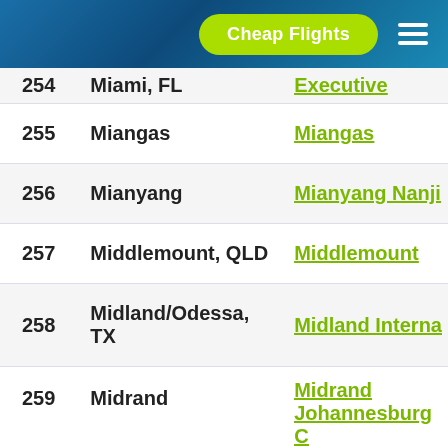Cheap Flights
| # | City | Airport |
| --- | --- | --- |
| 254 | Miami, FL | Executive |
| 255 | Miangas | Miangas |
| 256 | Mianyang | Mianyang Nanji… |
| 257 | Middlemount, QLD | Middlemount |
| 258 | Midland/Odessa, TX | Midland Interna… |
| 259 | Midrand | Midrand Johannesburg C Central |